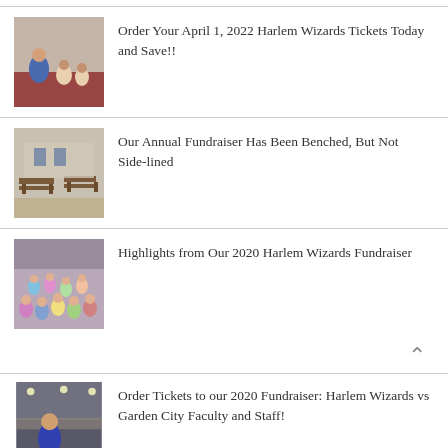Order Your April 1, 2022 Harlem Wizards Tickets Today and Save!!
Our Annual Fundraiser Has Been Benched, But Not Side-lined
Highlights from Our 2020 Harlem Wizards Fundraiser
Order Tickets to our 2020 Fundraiser: Harlem Wizards vs Garden City Faculty and Staff!